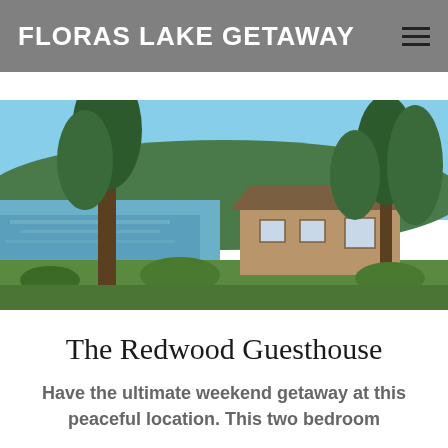FLORAS LAKE GETAWAY
[Figure (photo): Panoramic view of Floras Lake with a wooden guesthouse surrounded by tall evergreen trees, blue sky, and green grass in the foreground.]
The Redwood Guesthouse
Have the ultimate weekend getaway at this peaceful location. This two bedroom